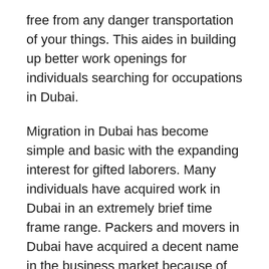free from any danger transportation of your things. This aides in building up better work openings for individuals searching for occupations in Dubai.
Migration in Dubai has become simple and basic with the expanding interest for gifted laborers. Many individuals have acquired work in Dubai in an extremely brief time frame range. Packers and movers in Dubai have acquired a decent name in the business market because of the ubiquity of the land business. It is a direct result of the notoriety of these administrations that many individuals have moved to Dubai from different nations.
Packers and Movers Dubai give stacking, dumping, and pressing Services